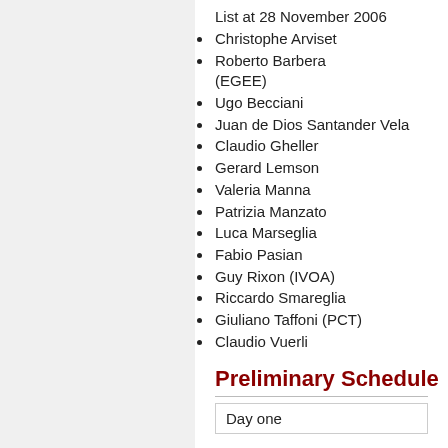List at 28 November 2006
Christophe Arviset
Roberto Barbera (EGEE)
Ugo Becciani
Juan de Dios Santander Vela
Claudio Gheller
Gerard Lemson
Valeria Manna
Patrizia Manzato
Luca Marseglia
Fabio Pasian
Guy Rixon (IVOA)
Riccardo Smareglia
Giuliano Taffoni (PCT)
Claudio Vuerli
Preliminary Schedule
Day one